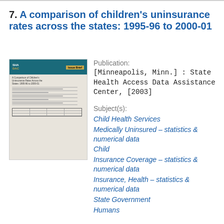7. A comparison of children's uninsurance rates across the states: 1995-96 to 2000-01
[Figure (illustration): Thumbnail image of a publication cover showing 'SHA DAC Issue Brief' header in teal/gold, with title 'A Comparison of Children's Uninsurance Rates Across the States: 1995-96 to 2000-01' and body text with a small table at bottom.]
Publication:
[Minneapolis, Minn.] : State Health Access Data Assistance Center, [2003]
Subject(s):
Child Health Services
Medically Uninsured – statistics & numerical data
Child
Insurance Coverage – statistics & numerical data
Insurance, Health – statistics & numerical data
State Government
Humans